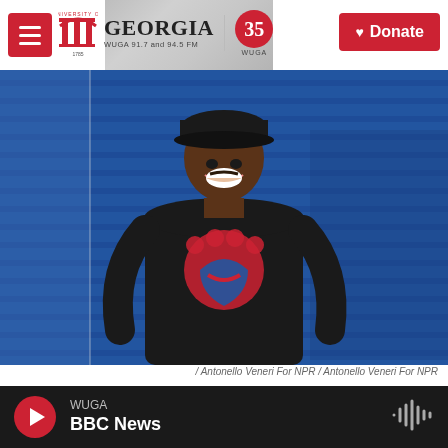University of Georgia WUGA 91.7 and 94.5 FM | 35 WUGA | Donate
[Figure (photo): Man smiling in front of blue corrugated metal shutters, wearing a black sweatshirt with red and blue graphic design, and a black cap]
/ Antonello Veneri For NPR / Antonello Veneri For NPR
Costa says his diet is significantly less healthy than it was before the pandemic. He used to eat fruit — he's fond of mangoes especially. And he
WUGA BBC News